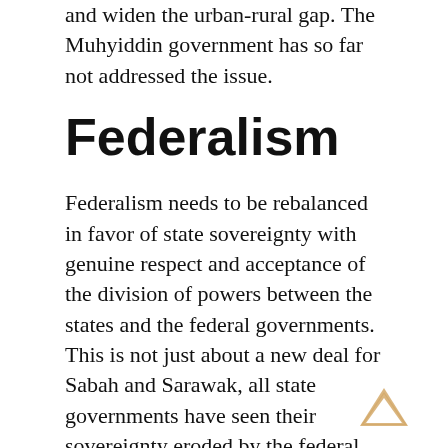and widen the urban-rural gap. The Muhyiddin government has so far not addressed the issue.
Federalism
Federalism needs to be rebalanced in favor of state sovereignty with genuine respect and acceptance of the division of powers between the states and the federal governments. This is not just about a new deal for Sabah and Sarawak, all state governments have seen their sovereignty eroded by the federal government over the decades.
State governments leaders need to put state interests before party political interests, and the dictates of any federal government, in political debate. National development and management should be a joint federal-state government effort, rather than federal governments bypassing state...